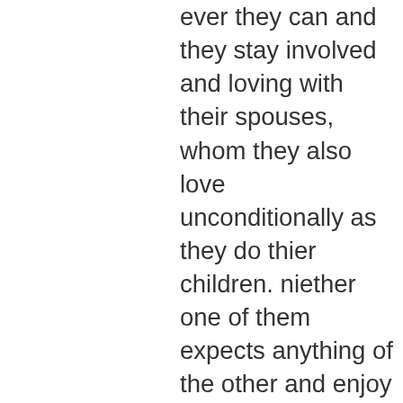ever they can and they stay involved and loving with their spouses, whom they also love unconditionally as they do thier children. niether one of them expects anything of the other and enjoy the moments in each others company. They do the same in their marriages how lucky they are to have so much unconditional love in their lives. There is so much to live for and room for many different loves in our lives. As long as we can love ourselves, which all love is born from respect which